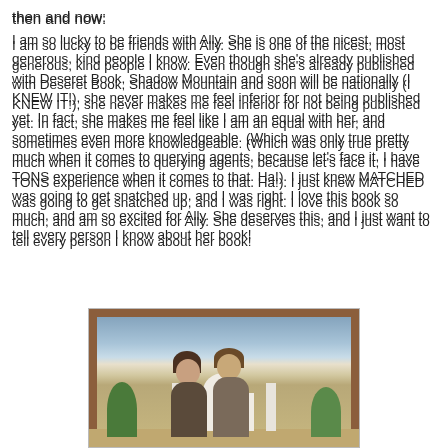then and now:
I am so lucky to be friends with Ally. She is one of the nicest, most generous, kind people I know. Even though she's already published with Deseret Book, Shadow Mountain and soon will be nationally (I KNEW IT!), she never makes me feel inferior for not being published yet. In fact, she makes me feel like I am an equal with her, and sometimes even more knowledgeable. (Which was only true pretty much when it comes to querying agents, because let's face it, I have TONS experience when it comes to that. Ha!). I just knew MATCHED was going to get snatched up, and I was right. I love this book so much, and am so excited for Ally. She deserves this, and I just want to tell every person I know about her book!
[Figure (photo): Two women posing in front of a painted backdrop depicting the Taj Mahal with minarets and trees, inside a dark wood frame.]